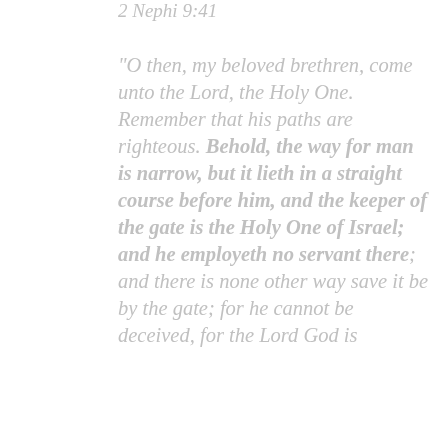2 Nephi 9:41
“O then, my beloved brethren, come unto the Lord, the Holy One. Remember that his paths are righteous. Behold, the way for man is narrow, but it lieth in a straight course before him, and the keeper of the gate is the Holy One of Israel; and he employeth no servant there; and there is none other way save it be by the gate; for he cannot be deceived, for the Lord God is